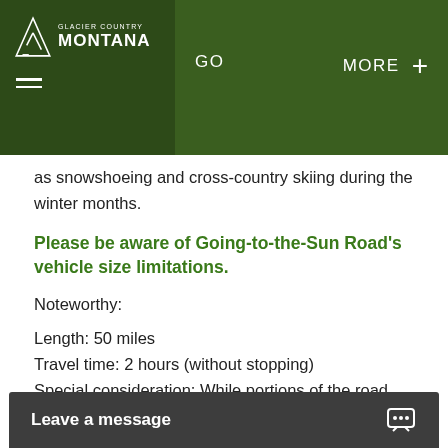GO   MORE +
as snowshoeing and cross-country skiing during the winter months.
Please be aware of Going-to-the-Sun Road's vehicle size limitations.
Noteworthy:
Length: 50 miles
Travel time: 2 hours (without stopping)
Special consideration: While portions of the road remain open year-round, the entire Going-to-the-Sun Road is typically open all the way across from mid-June to mid-September.
Leave a message